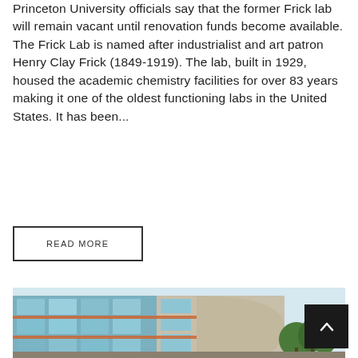Princeton University officials say that the former Frick lab will remain vacant until renovation funds become available. The Frick Lab is named after industrialist and art patron Henry Clay Frick (1849-1919). The lab, built in 1929, housed the academic chemistry facilities for over 83 years making it one of the oldest functioning labs in the United States. It has been...
READ MORE
[Figure (photo): Exterior photo of a modern multi-story building with glass facade, brick/concrete accents, and orange horizontal bands, with trees visible in front]